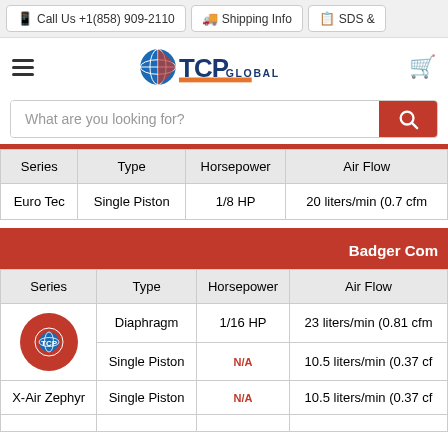Call Us +1(858) 909-2110 | Shipping Info | SDS &
[Figure (logo): TCP Global logo with globe icon and orange/navy text]
What are you looking for?
| Series | Type | Horsepower | Air Flow |
| --- | --- | --- | --- |
| Euro Tec | Single Piston | 1/8 HP | 20 liters/min (0.7 cfm |
| Series | Type | Horsepower | Air Flow |
| --- | --- | --- | --- |
| [TCP logo] | Diaphragm | 1/16 HP | 23 liters/min (0.81 cfm |
| [TCP logo] | Single Piston | N/A | 10.5 liters/min (0.37 cf |
| X-Air Zephyr | Single Piston | N/A | 10.5 liters/min (0.37 cf |
|  |  |  |  |